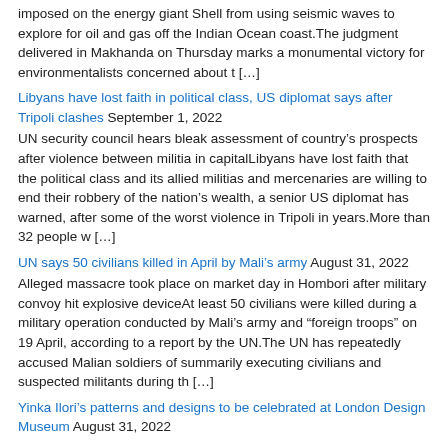imposed on the energy giant Shell from using seismic waves to explore for oil and gas off the Indian Ocean coast.The judgment delivered in Makhanda on Thursday marks a monumental victory for environmentalists concerned about t […]
Libyans have lost faith in political class, US diplomat says after Tripoli clashes September 1, 2022 UN security council hears bleak assessment of country's prospects after violence between militia in capitalLibyans have lost faith that the political class and its allied militias and mercenaries are willing to end their robbery of the nation's wealth, a senior US diplomat has warned, after some of the worst violence in Tripoli in years.More than 32 people w […]
UN says 50 civilians killed in April by Mali's army August 31, 2022 Alleged massacre took place on market day in Hombori after military convoy hit explosive deviceAt least 50 civilians were killed during a military operation conducted by Mali's army and "foreign troops" on 19 April, according to a report by the UN.The UN has repeatedly accused Malian soldiers of summarily executing civilians and suspected militants during th […]
Yinka Ilori's patterns and designs to be celebrated at London Design Museum August 31, 2022